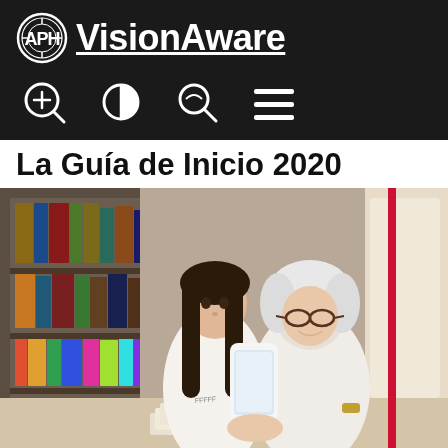APH VisionAware
[Figure (screenshot): VisionAware website header with APH logo circle and brand name 'VisionAware' underlined, plus toolbar icons: zoom in, contrast, search, menu]
La Guía de Inicio 2020
[Figure (photo): A young girl with long dark hair and an elderly woman with white hair and glasses look at a smartphone together at a table with books, in front of a bookshelf]